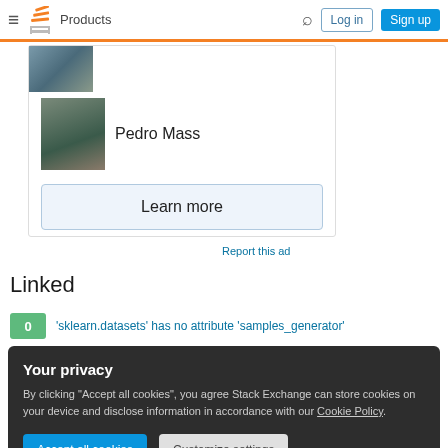Stack Overflow navigation bar with Products, search, Log in, Sign up
[Figure (screenshot): Ad card showing a person photo (Pedro Mass) and a Learn more button]
Pedro Mass
Learn more
Report this ad
Linked
'sklearn.datasets' has no attribute 'samples_generator'
Your privacy
By clicking "Accept all cookies", you agree Stack Exchange can store cookies on your device and disclose information in accordance with our Cookie Policy.
Accept all cookies
Customize settings